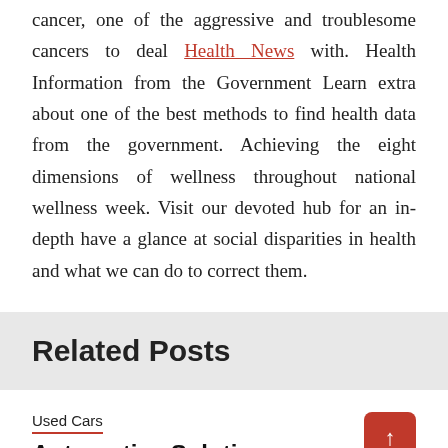cancer, one of the aggressive and troublesome cancers to deal Health News with. Health Information from the Government Learn extra about one of the best methods to find health data from the government. Achieving the eight dimensions of wellness throughout national wellness week. Visit our devoted hub for an in-depth have a glance at social disparities in health and what we can do to correct them.
Related Posts
Used Cars
Automotive Solutions
25/08/2022  Jean